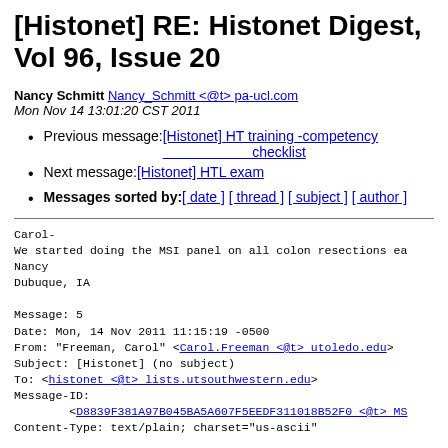[Histonet] RE: Histonet Digest, Vol 96, Issue 20
Nancy Schmitt Nancy_Schmitt <@t> pa-ucl.com
Mon Nov 14 13:01:20 CST 2011
Previous message: [Histonet] HT training -competency checklist
Next message: [Histonet] HTL exam
Messages sorted by: [ date ] [ thread ] [ subject ] [ author ]
Carol-
We started doing the MSI panel on all colon resections ea
Nancy
Dubuque, IA

Message: 5
Date: Mon, 14 Nov 2011 11:15:19 -0500
From: "Freeman, Carol" <Carol.Freeman <@t> utoledo.edu>
Subject: [Histonet] (no subject)
To: <histonet <@t> lists.utsouthwestern.edu>
Message-ID:
        <D8839F381A97B045BA5A607F5EEDF311018B52F0 <@t> MS
Content-Type: text/plain; charset="us-ascii"